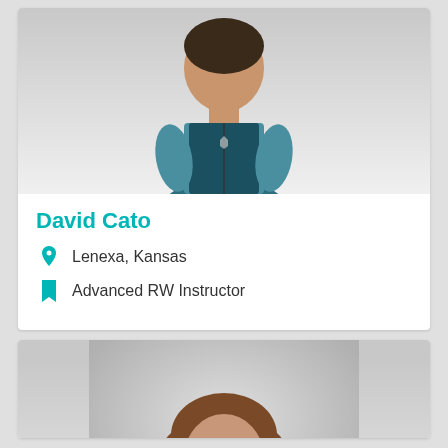[Figure (photo): Headshot photo of David Cato, a man wearing a teal vest and blue long-sleeve shirt, arms crossed, photographed against a white background.]
David Cato
Lenexa, Kansas
Advanced RW Instructor
[Figure (photo): Headshot photo of a woman with brown shoulder-length hair and glasses, smiling, wearing a blue top, photographed against a gray background.]